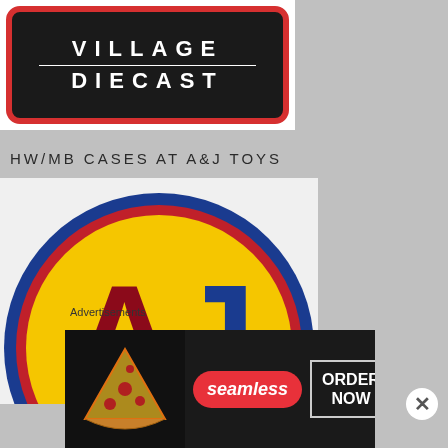[Figure (logo): Village Diecast logo — white text on black rounded rectangle with red border]
HW/MB CASES AT A&J TOYS
[Figure (logo): A&J Toys circular logo — large red A and blue J letters on yellow circle with blue/red border ring]
Advertisements
[Figure (other): Seamless food delivery advertisement banner with pizza image, Seamless logo, and ORDER NOW button]